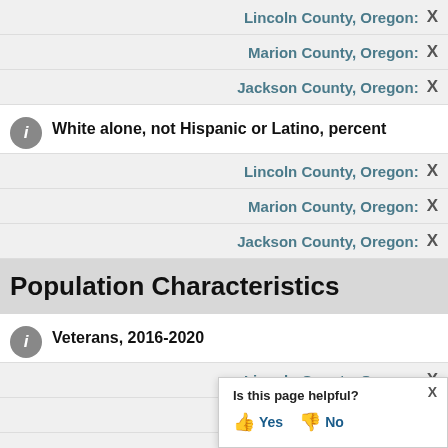Lincoln County, Oregon: X
Marion County, Oregon: X
Jackson County, Oregon: X
White alone, not Hispanic or Latino, percent
Lincoln County, Oregon: X
Marion County, Oregon: X
Jackson County, Oregon: X
Population Characteristics
Veterans, 2016-2020
Lincoln County, Oregon: X
Marion County, Oregon: X
Jackson County, Oregon: (partially visible)
Foreign born persons, percent (partially visible)
Is this page helpful? Yes No